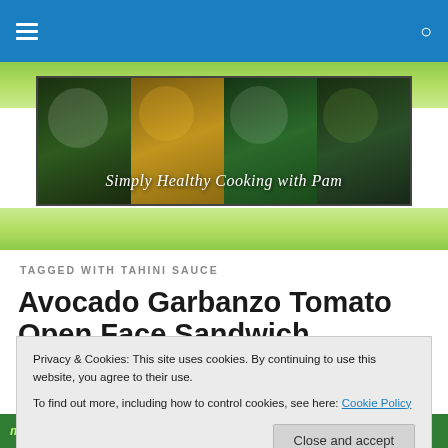Simply Healthy Cooking with Pam
[Figure (photo): Website banner showing four food photos with text 'Simply Healthy Cooking with Pam' overlaid in italic white text]
TAGGED WITH TAHINI SAUCE
Avocado Garbanzo Tomato Open Face Sandwich
Privacy & Cookies: This site uses cookies. By continuing to use this website, you agree to their use.
To find out more, including how to control cookies, see here: Cookie Policy
meal so I made this simple dish that did not take up a lot